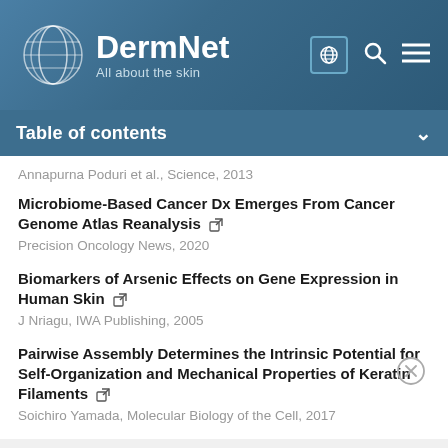[Figure (logo): DermNet logo with globe icon and text 'All about the skin']
Table of contents
Annapurna Poduri et al., Science, 2013
Microbiome-Based Cancer Dx Emerges From Cancer Genome Atlas Reanalysis
Precision Oncology News, 2020
Biomarkers of Arsenic Effects on Gene Expression in Human Skin
J Nriagu, IWA Publishing, 2005
Pairwise Assembly Determines the Intrinsic Potential for Self-Organization and Mechanical Properties of Keratin Filaments
Soichiro Yamada, Molecular Biology of the Cell, 2017
An electrochemical immunosensor coupling a bamboo-like carbon nanostructure substrate with toluidine blue-functionalized Cu(II)-MOFs as signal probes for a C-reactive protein assay